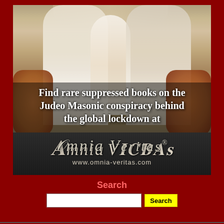[Figure (illustration): Religious-style painting showing a woman, infant/child, and robed man flanked by bulls/oxen, with overlaid advertising text. Bottom dark banner shows 'Omnia Veritas' logo and website URL.]
Find rare suppressed books on the Judeo Masonic conspiracy behind the global lockdown at
Omnia Veritas® www.omnia-veritas.com
Search